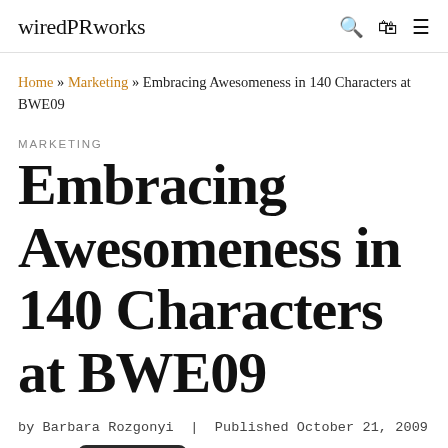wiredPRworks
Home » Marketing » Embracing Awesomeness in 140 Characters at BWE09
MARKETING
Embracing Awesomeness in 140 Characters at BWE09
by Barbara Rozgonyi | Published October 21, 2009
[Figure (other): Partial image placeholder at bottom left, language badge overlay showing English with US flag, and partial word 'The' at bottom right]